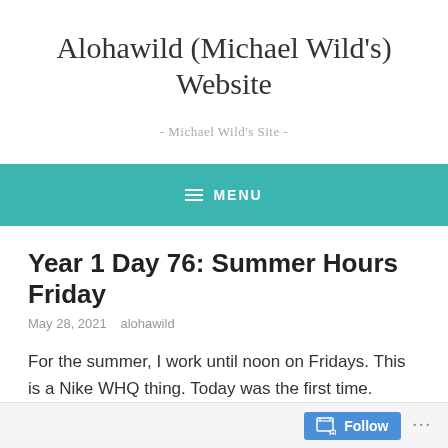Alohawild (Michael Wild's) Website
- Michael Wild's Site -
MENU
Year 1 Day 76: Summer Hours Friday
May 28, 2021   alohawild
For the summer, I work until noon on Fridays. This is a Nike WHQ thing. Today was the first time. Usually, I work until noon at the Evergreen Buildings, my home building which is not on
Follow ...